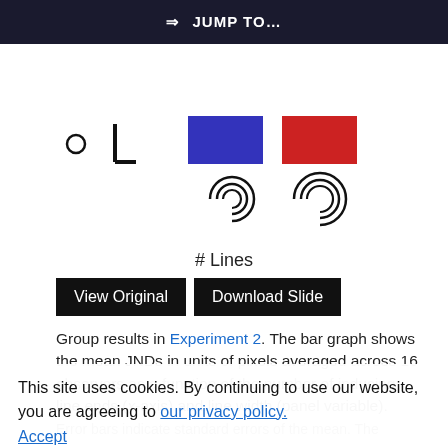⇒ JUMP TO…
[Figure (illustration): Scientific figure showing spiral/fingerprint-like stimuli with colored squares (blue and red) arranged in two columns, representing inducing line conditions with varying number of lines and line widths.]
# Lines
[Figure (other): View Original and Download Slide buttons]
Group results in Experiment 2. The bar graph shows the mean JNDs in units of pixels averaged across 16 observers as a function of the number of inducing line ends (x-axis) and line width (panel variable). Error bars indicate standard errors of the mean. The
This site uses cookies. By continuing to use our website, you are agreeing to our privacy policy. Accept